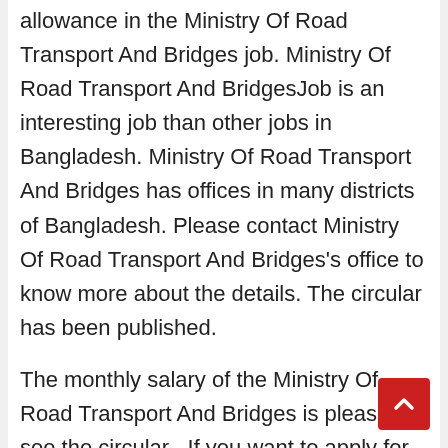allowance in the Ministry Of Road Transport And Bridges job. Ministry Of Road Transport And BridgesJob is an interesting job than other jobs in Bangladesh. Ministry Of Road Transport And Bridges has offices in many districts of Bangladesh. Please contact Ministry Of Road Transport And Bridges's office to know more about the details. The circular has been published.

The monthly salary of the Ministry Of Road Transport And Bridges is please see the circular . If you want to apply for Ministry Of Road Transport And Bridges job, you must be between 18 to 30 years old. Ministry Of Road Transport And Bridges Job Circular can be found on our site. You can find out more about